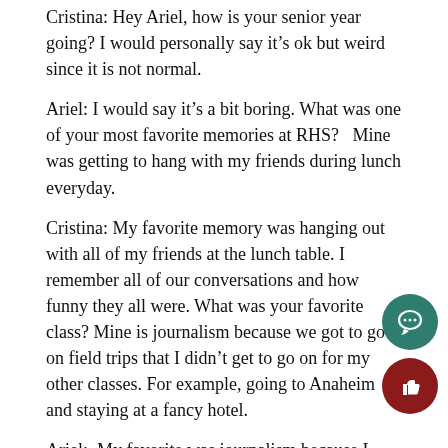Cristina: Hey Ariel, how is your senior year going?  I would personally say it's ok but weird since it is not normal.
Ariel: I would say it's a bit boring. What was one of your most favorite memories at RHS?   Mine was getting to hang with my friends during lunch everyday.
Cristina: My favorite memory was hanging out with all of my friends at the lunch table. I remember all of our conversations and how funny they all were. What was your favorite class? Mine is journalism because we got to go on field trips that I didn't get to go on for my other classes. For example, going to Anaheim and staying at a fancy hotel.
Ariel:  My favorite was journalism because I made great friends here. What was your favorite memory in that class? Mine is the class parties where we watched movies and food.